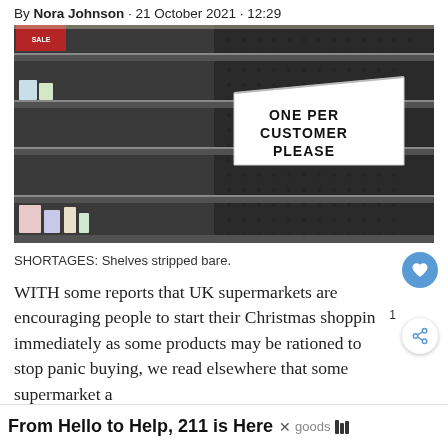By Nora Johnson · 21 October 2021 · 12:29
[Figure (photo): Supermarket shelves stripped mostly bare with a sign reading ONE PER CUSTOMER PLEASE]
SHORTAGES: Shelves stripped bare.
WITH some reports that UK supermarkets are encouraging people to start their Christmas shopping immediately as some products may be rationed to stop panic buying, we read elsewhere that some supermarket areas/goods w...
From Hello to Help, 211 is Here